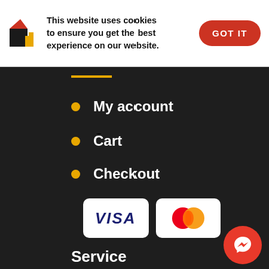This website uses cookies to ensure you get the best experience on our website.
GOT IT
My account
Cart
Checkout
[Figure (logo): VISA payment logo on white rounded rectangle card]
[Figure (logo): Mastercard payment logo on white rounded rectangle card]
Service
FAQ
Terms & Conditions